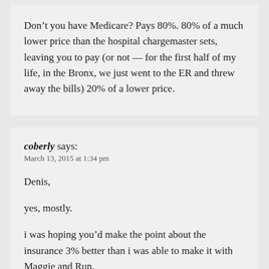Don't you have Medicare? Pays 80%. 80% of a much lower price than the hospital chargemaster sets, leaving you to pay (or not — for the first half of my life, in the Bronx, we just went to the ER and threw away the bills) 20% of a lower price.
coberly says:
March 13, 2015 at 1:34 pm
Denis,
yes, mostly.
i was hoping you'd make the point about the insurance 3% better than i was able to make it with Maggie and Run.